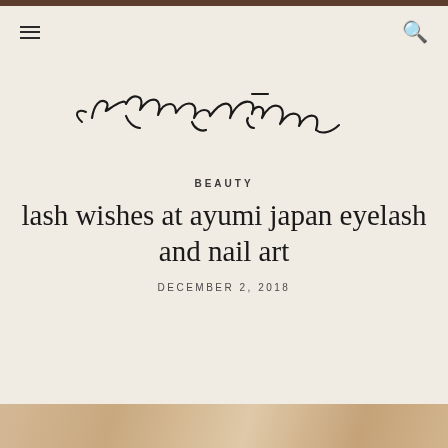[Figure (logo): Reverie script logo in cursive/handwritten style]
BEAUTY
lash wishes at ayumi japan eyelash and nail art
DECEMBER 2, 2018
[Figure (photo): Partial photo strip at bottom of page showing a sandy/golden textured surface]